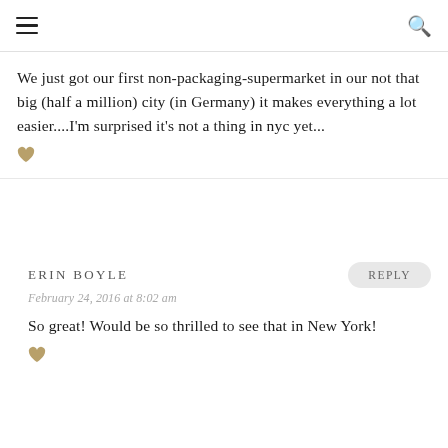We just got our first non-packaging-supermarket in our not that big (half a million) city (in Germany) it makes everything a lot easier....I'm surprised it's not a thing in nyc yet...
ERIN BOYLE
February 24, 2016 at 8:02 am
So great! Would be so thrilled to see that in New York!